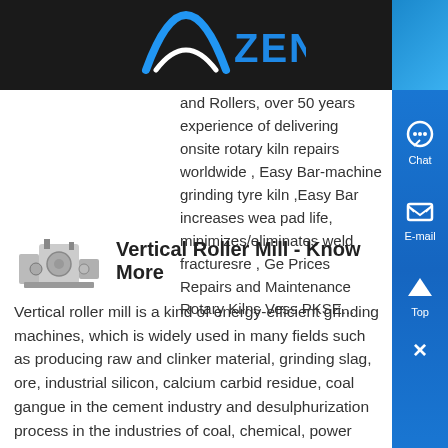ZENIT
and Rollers, over 50 years experience of delivering onsite rotary kiln repairs worldwide , Easy Bar-machine grinding tyre kiln ,Easy Bar increases wear pad life, minimizes/eliminates weld fracturesre , Get Prices Repairs and Maintenance Rotary Kilns Vessels PKSE...
Vertical Roller Mill - Know More
Vertical roller mill is a kind of energy-efficient grinding machines, which is widely used in many fields such as producing raw and clinker material, grinding slag, ore, industrial silicon, calcium carbide residue, coal gangue in the cement industry and desulphurization process in the industries of coal, chemical, power plant...